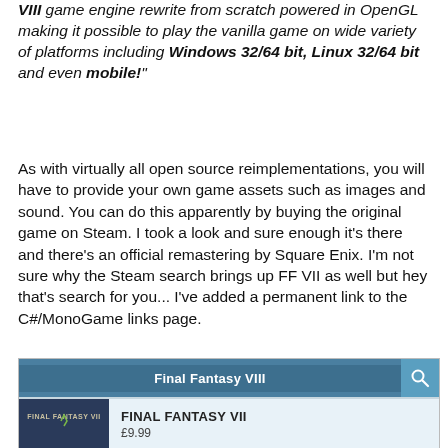VIII game engine rewrite from scratch powered in OpenGL making it possible to play the vanilla game on wide variety of platforms including Windows 32/64 bit, Linux 32/64 bit and even mobile!"
As with virtually all open source reimplementations, you will have to provide your own game assets such as images and sound. You can do this apparently by buying the original game on Steam. I took a look and sure enough it's there and there's an official remastering by Square Enix. I'm not sure why the Steam search brings up FF VII as well but hey that's search for you... I've added a permanent link to the C#/MonoGame links page.
[Figure (screenshot): Steam store search result showing 'Final Fantasy VIII' search query returning 'FINAL FANTASY VII' result priced at £9.99, with a teal header bar and search icon.]